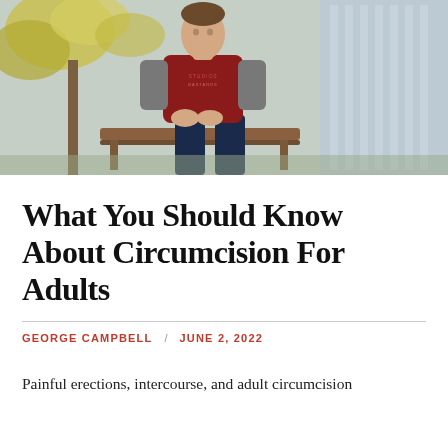[Figure (photo): Person sitting on an outdoor bench wearing a dark red/maroon graphic sweatshirt and navy pants, with autumn yellow-green leaves visible in the background and a building with glass facade behind them.]
What You Should Know About Circumcision For Adults
GEORGE CAMPBELL / JUNE 2, 2022
Painful erections, intercourse, and adult circumcision